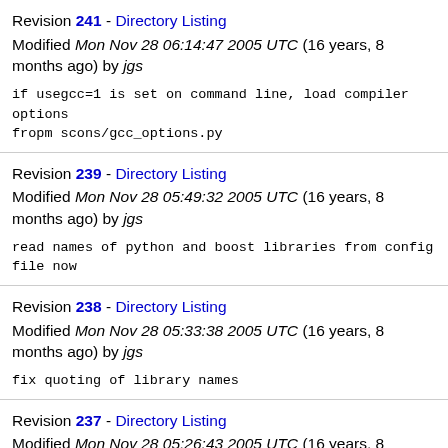Revision 241 - Directory Listing
Modified Mon Nov 28 06:14:47 2005 UTC (16 years, 8 months ago) by jgs
if usegcc=1 is set on command line, load compiler options
fropm scons/gcc_options.py
Revision 239 - Directory Listing
Modified Mon Nov 28 05:49:32 2005 UTC (16 years, 8 months ago) by jgs
read names of python and boost libraries from config file now
Revision 238 - Directory Listing
Modified Mon Nov 28 05:33:38 2005 UTC (16 years, 8 months ago) by jgs
fix quoting of library names
Revision 237 - Directory Listing
Modified Mon Nov 28 05:26:43 2005 UTC (16 years, 8